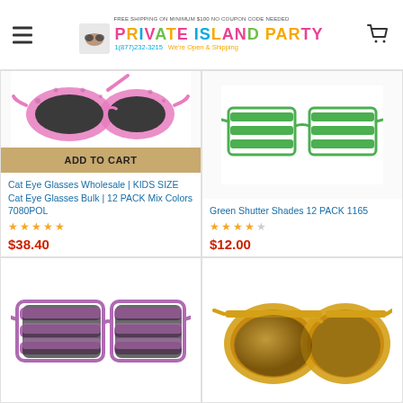FREE SHIPPING ON MINIMUM $100 NO COUPON CODE NEEDED | Private Island Party | 1(877)232-3215 We're Open & Shipping
[Figure (photo): Pink cat-eye glasses on white background]
ADD TO CART
Cat Eye Glasses Wholesale | KIDS SIZE Cat Eye Glasses Bulk | 12 PACK Mix Colors 7080POL
★★★★★
$38.40
[Figure (photo): Green shutter shades on white background]
Green Shutter Shades 12 PACK 1165
★★★★☆
$12.00
[Figure (photo): Purple/pink shutter shades on white background]
[Figure (photo): Gold oversized aviator glasses on white background]